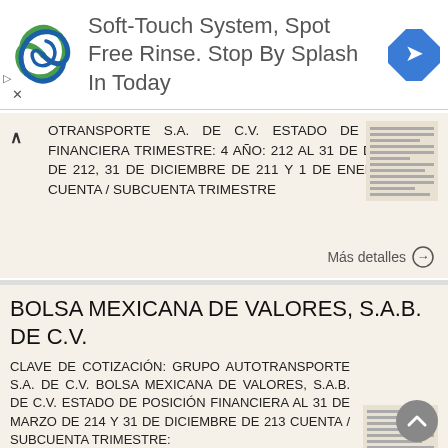[Figure (infographic): Advertisement banner: logo with swirl graphic, text 'Soft-Touch System, Spot Free Rinse. Stop By Splash In Today', navigation arrow icon]
OTRANSPORTE S.A. DE C.V. ESTADO DE POSICIÓN FINANCIERA TRIMESTRE: 4 AÑO: 212 AL 31 DE DICIEMBRE DE 212, 31 DE DICIEMBRE DE 211 Y 1 DE ENERO DE 211 CUENTA / SUBCUENTA TRIMESTRE
Más detalles →
BOLSA MEXICANA DE VALORES, S.A.B. DE C.V.
CLAVE DE COTIZACIÓN: GRUPO AUTOTRANSPORTE S.A. DE C.V. BOLSA MEXICANA DE VALORES, S.A.B. DE C.V. ESTADO DE POSICIÓN FINANCIERA AL 31 DE MARZO DE 214 Y 31 DE DICIEMBRE DE 213 CUENTA / SUBCUENTA TRIMESTRE: